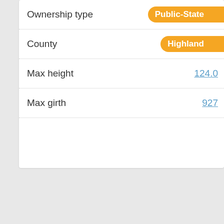| Field | Value |
| --- | --- |
| Ownership type | Public-State |
| County | Highland |
| Max height | 124.0 |
| Max girth | 927 |